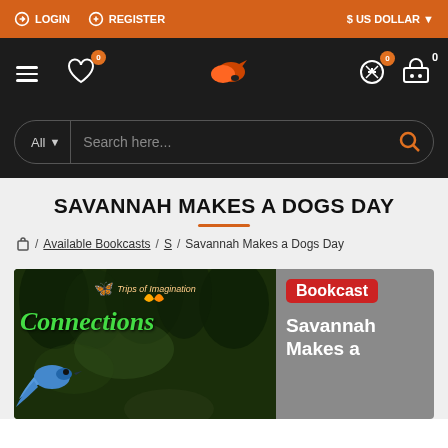LOGIN  REGISTER  $ US DOLLAR
[Figure (screenshot): Dark navigation bar with hamburger menu, heart/wishlist icon with badge 0, fox logo, compare icon with badge 0, and cart icon with badge 0]
[Figure (screenshot): Search bar with 'All' category dropdown and 'Search here...' placeholder with orange search icon]
SAVANNAH MAKES A DOGS DAY
Home / Available Bookcasts / S / Savannah Makes a Dogs Day
[Figure (photo): Book product image split into two halves: left shows dark forest background with 'Trips of Imagination' label, 'Connections' text in green, and a bluebird; right shows gray background with red 'Bookcast' badge and white text 'Savannah Makes a']